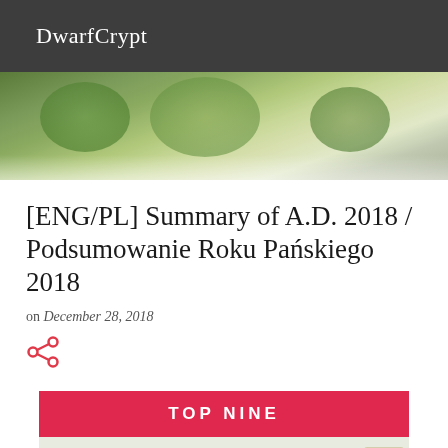DwarfCrypt
[Figure (photo): Blurred hero image of painted miniature figures on a gaming table, showing colorful miniatures with a bokeh/blurred background.]
[ENG/PL] Summary of A.D. 2018 / Podsumowanie Roku Pańskiego 2018
on December 28, 2018
[Figure (photo): Share icon (red/coral colored share symbol)]
[Figure (photo): Instagram Top Nine collage showing painted miniature figures. A red banner at top reads TOP NINE, below which is a collage of painted fantasy miniatures including groups of small figures, armored warriors, and individual character models on display bases.]